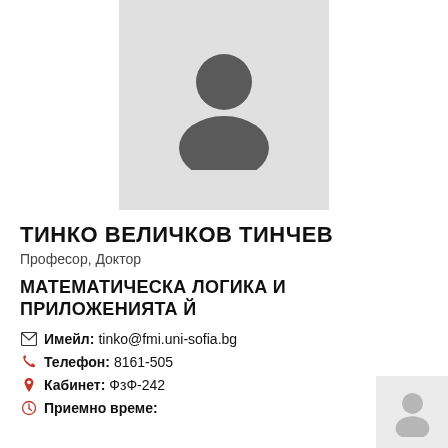[Figure (photo): Placeholder profile photo with generic person silhouette on light grey background]
ТИНКО ВЕЛИЧКОВ ТИНЧЕВ
Професор, Доктор
МАТЕМАТИЧЕСКА ЛОГИКА И ПРИЛОЖЕНИЯТА Й
Имейл: tinko@fmi.uni-sofia.bg
Телефон: 8161-505
Кабинет: ФзФ-242
Приемно време: